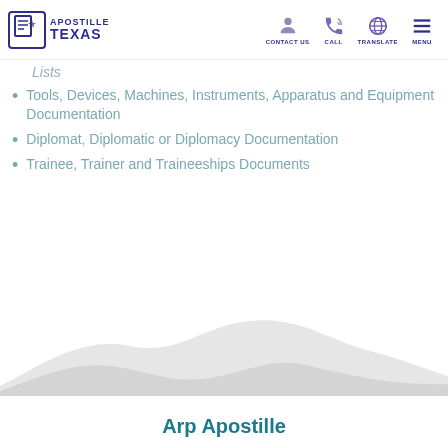APOSTILLE TEXAS — CONTACT US | CALL | TRANSLATE | MENU
Lists
Tools, Devices, Machines, Instruments, Apparatus and Equipment Documentation
Diplomat, Diplomatic or Diplomacy Documentation
Trainee, Trainer and Traineeships Documents
[Figure (illustration): Decorative wave/mountain silhouette in light grey]
Arp Apostille